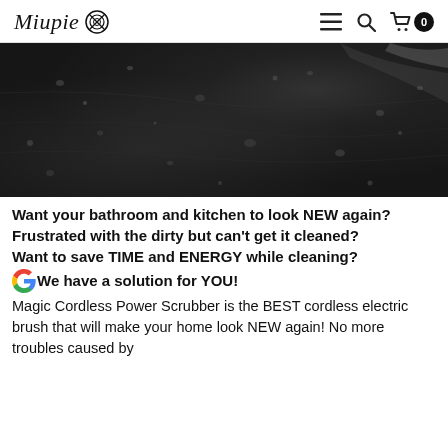Miupie [logo] — navigation icons: hamburger menu, search, cart (0)
[Figure (photo): Close-up photo of a dark wet surface with water droplets, gray and black tones, possibly a dirty bathroom or kitchen tile surface.]
Want your bathroom and kitchen to look NEW again?
Frustrated with the dirty but can't get it cleaned?
Want to save TIME and ENERGY while cleaning?
We have a solution for YOU!
Magic Cordless Power Scrubber is the BEST cordless electric brush that will make your home look NEW again! No more troubles caused by